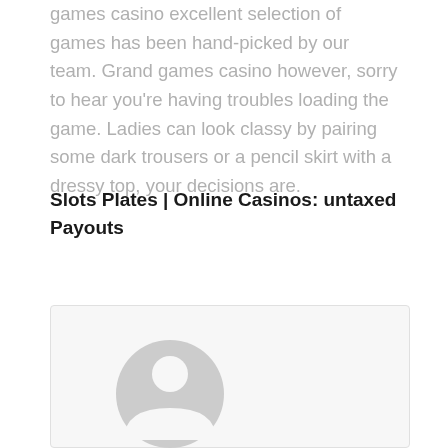games casino excellent selection of games has been hand-picked by our team. Grand games casino however, sorry to hear you're having troubles loading the game. Ladies can look classy by pairing some dark trousers or a pencil skirt with a dressy top, your decisions are.
Slots Plates | Online Casinos: untaxed Payouts
[Figure (illustration): Generic user avatar icon — a grey circle with a person silhouette (head circle and body arc) on a light grey card background]